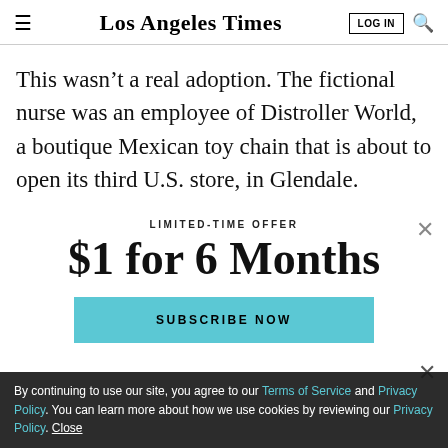Los Angeles Times | LOG IN
This wasn't a real adoption. The fictional nurse was an employee of Distroller World, a boutique Mexican toy chain that is about to open its third U.S. store, in Glendale.
LIMITED-TIME OFFER
$1 for 6 Months
SUBSCRIBE NOW
By continuing to use our site, you agree to our Terms of Service and Privacy Policy. You can learn more about how we use cookies by reviewing our Privacy Policy. Close